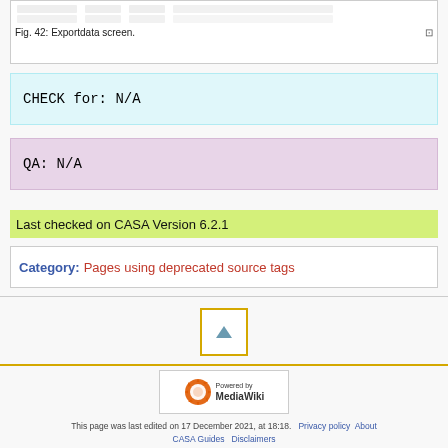[Figure (screenshot): Screenshot of Exportdata screen showing table rows with data]
Fig. 42: Exportdata screen.
CHECK for: N/A
QA: N/A
Last checked on CASA Version 6.2.1
Category:  Pages using deprecated source tags
[Figure (other): Scroll to top button (triangle/arrow up icon)]
[Figure (logo): Powered by MediaWiki logo]
This page was last edited on 17 December 2021, at 18:18.   Privacy policy   About CASA Guides   Disclaimers